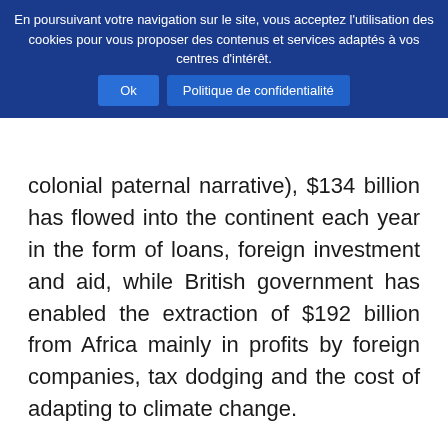En poursuivant votre navigation sur le site, vous acceptez l'utilisation des cookies pour vous proposer des contenus et services adaptés à vos centres d'intérêt. Ok Politique de confidentialité
colonial paternal narrative), $134 billion has flowed into the continent each year in the form of loans, foreign investment and aid, while British government has enabled the extraction of $192 billion from Africa mainly in profits by foreign companies, tax dodging and the cost of adapting to climate change.
The report highlights the roles played by major companies, such as Rio Tinto, Glencore and Vedanta. From the displacement of people and killings to labour rights violations, environmental degradation and tax dodging, Africa appears to